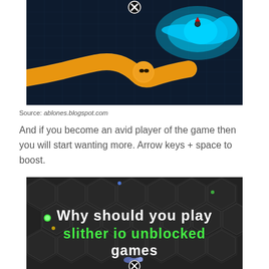[Figure (screenshot): Screenshot of slither.io game showing a yellow snake and a blue glowing snake on a dark grid background with an X close button at top]
Source: ablones.blogspot.com
And if you become an avid player of the game then you will start wanting more. Arrow keys + space to boost.
[Figure (screenshot): Screenshot of slither.io unblocked games title screen with hexagonal dark background, text 'Why should you play slither io unblocked games' with a small snake at bottom and X close button]